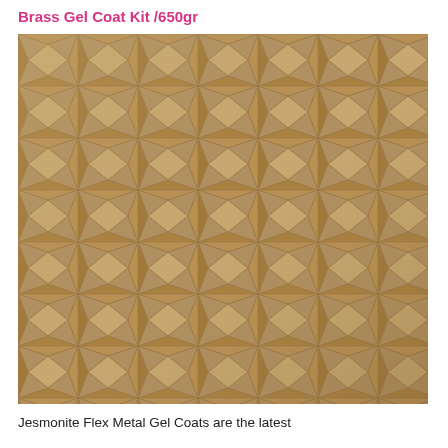Brass Gel Coat Kit /650gr
[Figure (photo): Close-up photograph of brass gel coat finish applied to a textured panel with a repeating geometric star/hexagon pattern in a warm brass/gold tone.]
Jesmonite Flex Metal Gel Coats are the latest